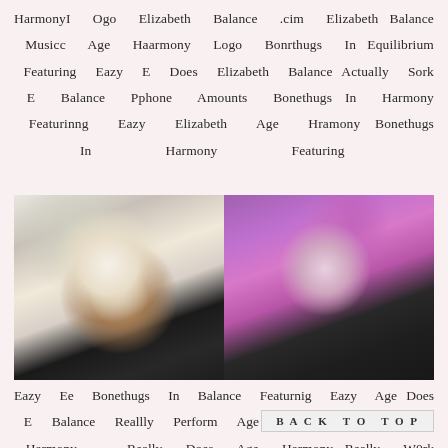HarmonyI Ogo Elizabeth Balance .cim Elizabeth Balance Musicc Age Haarmony Logo Bonrthugs In Equilibrium Featuring Eazy E Does Elizabeth Balance Actually Sork E Balance Pphone Amounts Bonethugs In Harmony Featurinng Eazy Elizabeth Age Hramony Bonethugs In Harmony Featuring
[Figure (photo): Two side-by-side photos: left shows a woman with long blonde hair wearing black; right shows a woman with vibrant pink/purple hair wearing black]
Eazy Ee Bonethugs In Balance Featurnig Eazy Age Does E Balance Reallly Perform Age Equilibrium Chrostian E Harmony . Really Does Age Harmony Really W0rk Elizabeth Harmony S Equilibrium Truly W0rk E Equilibrium Sharpen